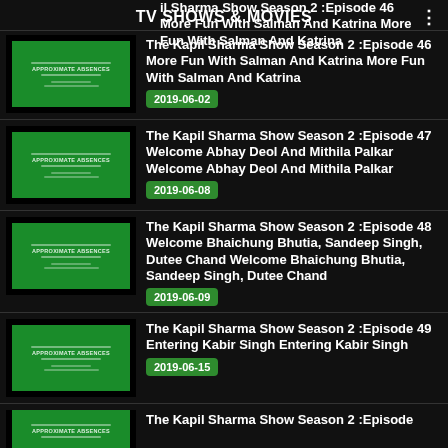TV SHOWS & MOVIES
The Kapil Sharma Show Season 2 :Episode 46 More Fun With Salman And Katrina More Fun With Salman And Katrina
2019-06-02
The Kapil Sharma Show Season 2 :Episode 47 Welcome Abhay Deol And Mithila Palkar Welcome Abhay Deol And Mithila Palkar
2019-06-08
The Kapil Sharma Show Season 2 :Episode 48 Welcome Bhaichung Bhutia, Sandeep Singh, Dutee Chand Welcome Bhaichung Bhutia, Sandeep Singh, Dutee Chand
2019-06-09
The Kapil Sharma Show Season 2 :Episode 49 Entering Kabir Singh Entering Kabir Singh
2019-06-15
The Kapil Sharma Show Season 2 :Episode